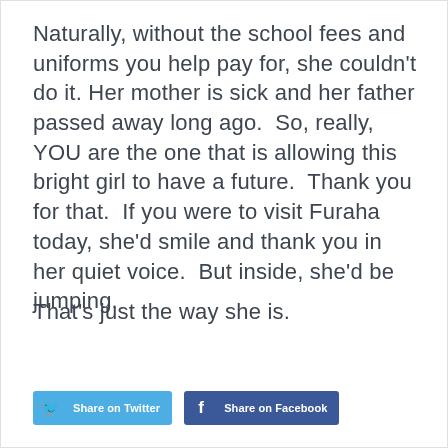Naturally, without the school fees and uniforms you help pay for, she couldn't do it. Her mother is sick and her father passed away long ago.  So, really, YOU are the one that is allowing this bright girl to have a future.  Thank you for that.  If you were to visit Furaha today, she'd smile and thank you in her quiet voice.  But inside, she'd be jumping.
That's just the way she is.
[Figure (other): Share on Twitter button (blue) and Share on Facebook button (dark blue) social sharing buttons]